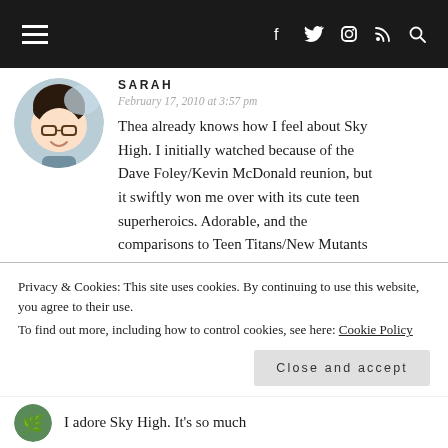≡  f  𝕩  ⊙  ⌂  🔍
SARAH
February 17, 2010 at 3:57 pm
Thea already knows how I feel about Sky High. I initially watched because of the Dave Foley/Kevin McDonald reunion, but it swiftly won me over with its cute teen superheroics. Adorable, and the comparisons to Teen Titans/New Mutants
Privacy & Cookies: This site uses cookies. By continuing to use this website, you agree to their use.
To find out more, including how to control cookies, see here: Cookie Policy
Close and accept
I adore Sky High. It's so much